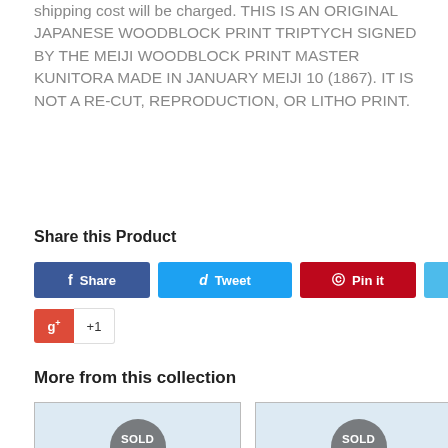shipping cost will be charged. THIS IS AN ORIGINAL JAPANESE WOODBLOCK PRINT TRIPTYCH SIGNED BY THE MEIJI WOODBLOCK PRINT MASTER KUNITORA MADE IN JANUARY MEIJI 10 (1867). IT IS NOT A RE-CUT, REPRODUCTION, OR LITHO PRINT.
Share this Product
Share | Tweet | Pin it | Fancy | g+ +1
More from this collection
[Figure (photo): Product image with SOLD OUT overlay badge (circular grey overlay)]
[Figure (photo): Product image with SOLD OUT overlay badge (circular grey overlay)]